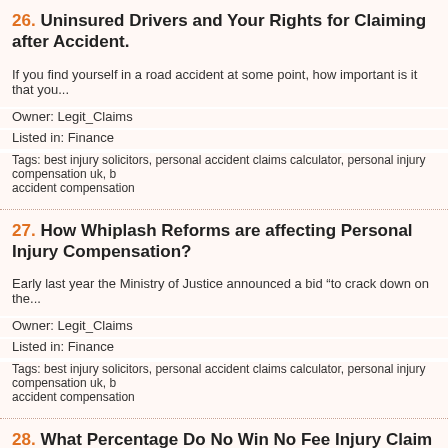26. Uninsured Drivers and Your Rights for Claiming after Accident.
If you find yourself in a road accident at some point, how important is it that you...
Owner: Legit_Claims
Listed in: Finance
Tags: best injury solicitors, personal accident claims calculator, personal injury compensation uk, accident compensation
27. How Whiplash Reforms are affecting Personal Injury Compensation?
Early last year the Ministry of Justice announced a bid “to crack down on the...
Owner: Legit_Claims
Listed in: Finance
Tags: best injury solicitors, personal accident claims calculator, personal injury compensation uk, accident compensation
28. What Percentage Do No Win No Fee Injury Claim Solicitors Take?
The stress of personal injury can be quite high without the worry of where to find...
Owner: Legit_Claims